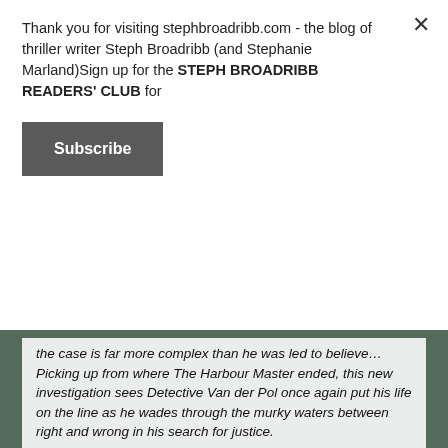Thank you for visiting stephbroadribb.com - the blog of thriller writer Steph Broadribb (and Stephanie Marland)Sign up for the STEPH BROADRIBB READERS' CLUB for
Subscribe
the case is far more complex than he was led to believe… Picking up from where The Harbour Master ended, this new investigation sees Detective Van der Pol once again put his life on the line as he wades through the murky waters between right and wrong in his search for justice.
Sometimes, to catch the bad guys, you have to think like one. . ."
To find out more about Daniel Pembrey and his books hop over to his website at